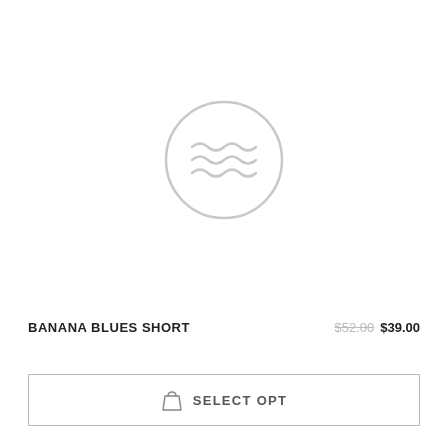[Figure (illustration): A circular icon with wavy lines (water/fabric waves) in light gray on white background, centered in the upper product image area]
BANANA BLUES SHORT
$52.00 $39.00
SELECT OPT